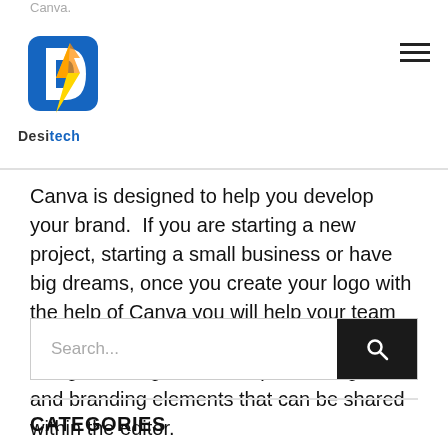Desitech
Canva is designed to help you develop your brand.  If you are starting a new project, starting a small business or have big dreams, once you create your logo with the help of Canva you will help your team create stylish and brand-appropriate designs through the color palette, logos and branding elements that can be shared within the editor.
CATEGORIES